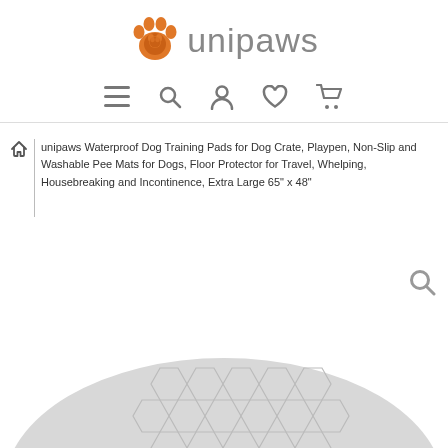[Figure (logo): Unipaws logo with orange paw print icon and gray 'unipaws' text]
[Figure (screenshot): Navigation bar icons: hamburger menu, search, user/account, heart/wishlist, shopping cart]
unipaws Waterproof Dog Training Pads for Dog Crate, Playpen, Non-Slip and Washable Pee Mats for Dogs, Floor Protector for Travel, Whelping, Housebreaking and Incontinence, Extra Large 65" x 48"
[Figure (photo): Gray waterproof dog training pad with hexagonal pattern, partially shown at the bottom of the page]